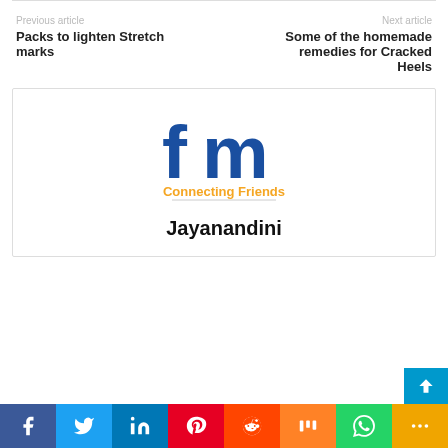Previous article
Packs to lighten Stretch marks
Next article
Some of the homemade remedies for Cracked Heels
[Figure (logo): fm Connecting Friends logo with blue stylized 'fm' letters and orange 'Connecting Friends' tagline]
Jayanandini
[Figure (infographic): Social media share bar with icons: Facebook, Twitter, LinkedIn, Pinterest, Reddit, Mix, WhatsApp, More]